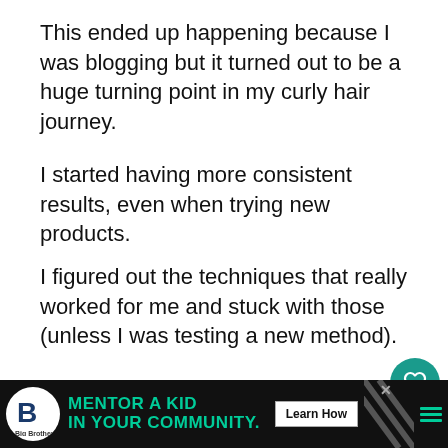This ended up happening because I was blogging but it turned out to be a huge turning point in my curly hair journey.
I started having more consistent results, even when trying new products.
I figured out the techniques that really worked for me and stuck with those (unless I was testing a new method).
Seriously, keeping a record with photos and the details of the products and techniques
[Figure (screenshot): Mobile UI heart/like button (teal circle with white heart icon) and share button (white circle with share icon)]
[Figure (screenshot): Advertisement banner: Big Brothers Big Sisters - MENTOR A KID IN YOUR COMMUNITY. Learn How button. Dark background with teal green text. Diagonal stripe pattern and hamburger menu on right.]